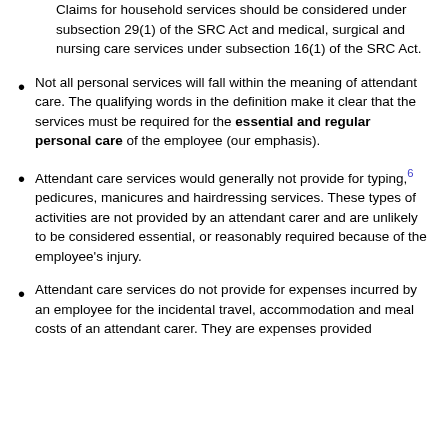Claims for household services should be considered under subsection 29(1) of the SRC Act and medical, surgical and nursing care services under subsection 16(1) of the SRC Act.
Not all personal services will fall within the meaning of attendant care. The qualifying words in the definition make it clear that the services must be required for the essential and regular personal care of the employee (our emphasis).
Attendant care services would generally not provide for typing,[6] pedicures, manicures and hairdressing services. These types of activities are not provided by an attendant carer and are unlikely to be considered essential, or reasonably required because of the employee's injury.
Attendant care services do not provide for expenses incurred by an employee for the incidental travel, accommodation and meal costs of an attendant carer. They are expenses provided